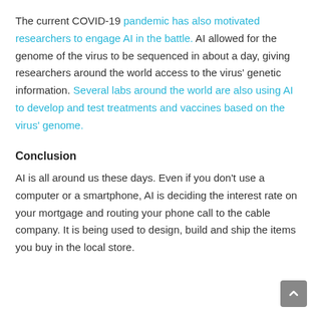The current COVID-19 pandemic has also motivated researchers to engage AI in the battle. AI allowed for the genome of the virus to be sequenced in about a day, giving researchers around the world access to the virus' genetic information. Several labs around the world are also using AI to develop and test treatments and vaccines based on the virus' genome.
Conclusion
AI is all around us these days. Even if you don't use a computer or a smartphone, AI is deciding the interest rate on your mortgage and routing your phone call to the cable company. It is being used to design, build and ship the items you buy in the local store.